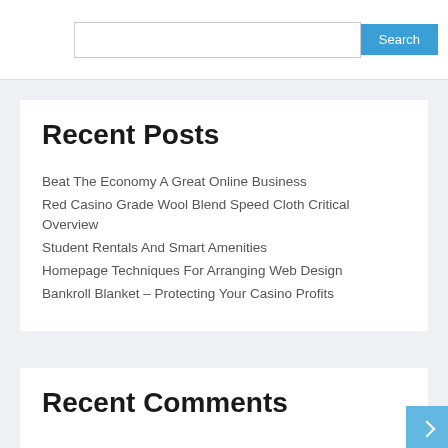Recent Posts
Beat The Economy A Great Online Business
Red Casino Grade Wool Blend Speed Cloth Critical Overview
Student Rentals And Smart Amenities
Homepage Techniques For Arranging Web Design
Bankroll Blanket – Protecting Your Casino Profits
Recent Comments